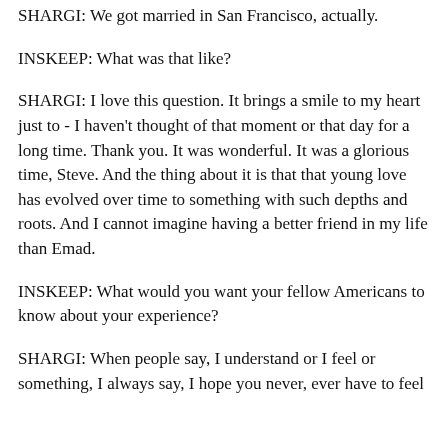SHARGI: We got married in San Francisco, actually.
INSKEEP: What was that like?
SHARGI: I love this question. It brings a smile to my heart just to - I haven't thought of that moment or that day for a long time. Thank you. It was wonderful. It was a glorious time, Steve. And the thing about it is that that young love has evolved over time to something with such depths and roots. And I cannot imagine having a better friend in my life than Emad.
INSKEEP: What would you want your fellow Americans to know about your experience?
SHARGI: When people say, I understand or I feel or something, I always say, I hope you never, ever have to feel